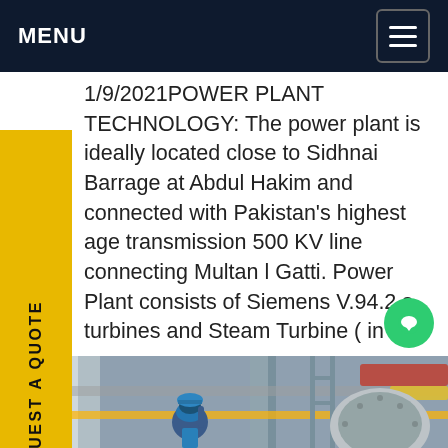MENU
1/9/2021POWER PLANT TECHNOLOGY: The power plant is ideally located close to Sidhnai Barrage at Abdul Hakim and connected with Pakistan's highest age transmission 500 KV line connecting Multan l Gatti. Power Plant consists of Siemens V.94.2 s turbines and Steam Turbine ( in 2+2+1 combined le configuration) and is designed for base dGet price
[Figure (photo): Industrial power plant equipment with a worker in blue hard hat inspecting machinery, pipes and turbine components visible]
REQUEST A QUOTE